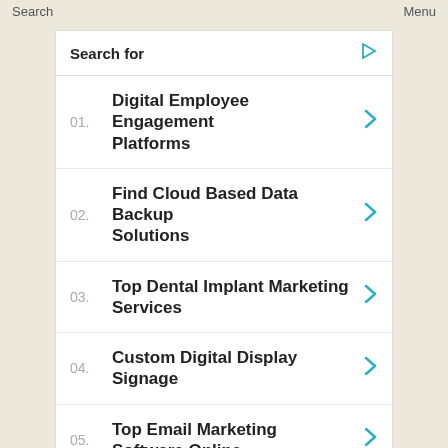Search    Menu
Search for
01. Digital Employee Engagement Platforms
02. Find Cloud Based Data Backup Solutions
03. Top Dental Implant Marketing Services
04. Custom Digital Display Signage
05. Top Email Marketing Software Online
Yahoo! Search | Sponsored